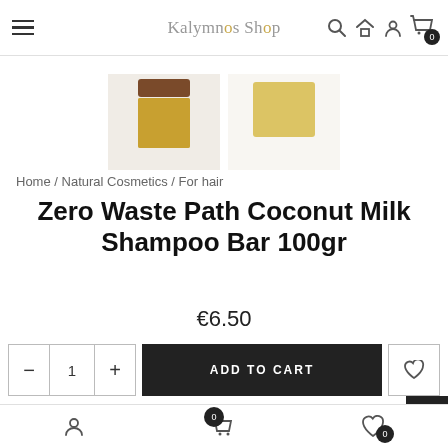Kalymnos Shop
[Figure (photo): Product thumbnail images of coconut milk shampoo bars]
Home / Natural Cosmetics / For hair
Zero Waste Path Coconut Milk Shampoo Bar 100gr
€6.50
ADD TO CART
This moisturising shampoo bar is particularly indicated
Bottom navigation bar with user, cart (0), and wishlist (0) icons